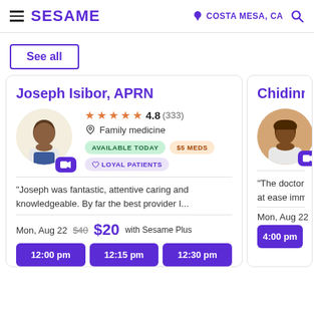SESAME   COSTA MESA, CA
See all
Joseph Isibor, APRN
4.8 (333) Family medicine AVAILABLE TODAY $5 MEDS LOYAL PATIENTS
"Joseph was fantastic, attentive caring and knowledgeable. By far the best provider I...
Mon, Aug 22    $40  $20  with Sesame Plus
12:00 pm   12:15 pm   12:30 pm
Chidinm
"The doctor w... at ease imme...
Mon, Aug 22
4:00 pm